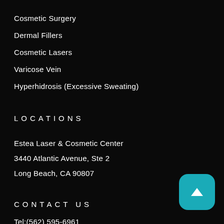Cosmetic Surgery
Dermal Fillers
Cosmetic Lasers
Varicose Vein
Hyperhidrosis (Excessive Sweating)
LOCATIONS
Estea Laser & Cosmetic Center
3440 Atlantic Avenue, Ste 2
Long Beach, CA 90807
CONTACT US
Tel:(562) 595-6961